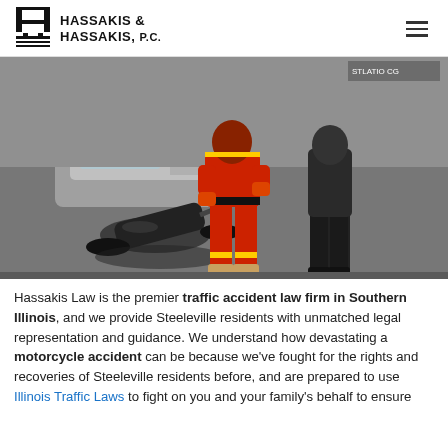HASSAKIS & HASSAKIS, P.C.
[Figure (photo): Motorcycle accident scene: a crashed motorcycle lies on the road while a person in a red jumpsuit with yellow trim stands nearby, and another person in dark clothing stands to the right. A car is visible in the background.]
Hassakis Law is the premier traffic accident law firm in Southern Illinois, and we provide Steeleville residents with unmatched legal representation and guidance. We understand how devastating a motorcycle accident can be because we've fought for the rights and recoveries of Steeleville residents before, and are prepared to use Illinois Traffic Laws to fight on you and your family's behalf to ensure